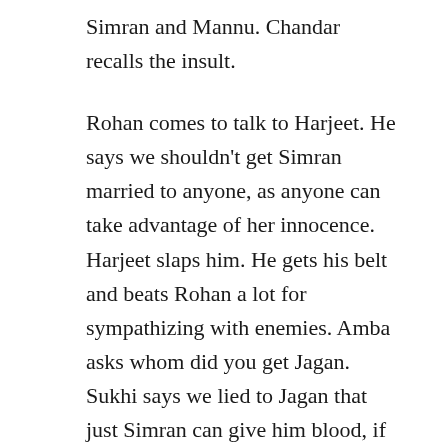Simran and Mannu. Chandar recalls the insult.
Rohan comes to talk to Harjeet. He says we shouldn't get Simran married to anyone, as anyone can take advantage of her innocence. Harjeet slaps him. He gets his belt and beats Rohan a lot for sympathizing with enemies. Amba asks whom did you get Jagan. Sukhi says we lied to Jagan that just Simran can give him blood, if he knows this. Jagan asks what. Babli says nothing, he is saying nonsense in fear. Amba says you kidnapped Amrit, Harjeet will not leave you.
Amrit wakes up and says this is not right. Jagan says I don't care, she will stay here till we get Simran home. He ties up Amrit. Amba says we have to make Amrit reach home safely. Rohan recalls Harjeet's slap and